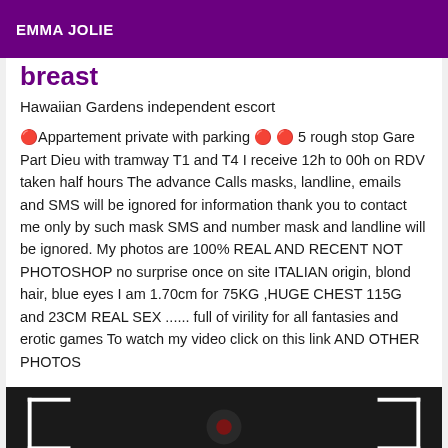EMMA JOLIE
breast
Hawaiian Gardens independent escort
🔴Appartement private with parking 🔴 🔴 5 rough stop Gare Part Dieu with tramway T1 and T4 I receive 12h to 00h on RDV taken half hours The advance Calls masks, landline, emails and SMS will be ignored for information thank you to contact me only by such mask SMS and number mask and landline will be ignored. My photos are 100% REAL AND RECENT NOT PHOTOSHOP no surprise once on site ITALIAN origin, blond hair, blue eyes I am 1.70cm for 75KG ,HUGE CHEST 115G and 23CM REAL SEX ...... full of virility for all fantasies and erotic games To watch my video click on this link AND OTHER PHOTOS
[Figure (photo): Dark background photo strip with white bracket/corner markers on left and right sides]